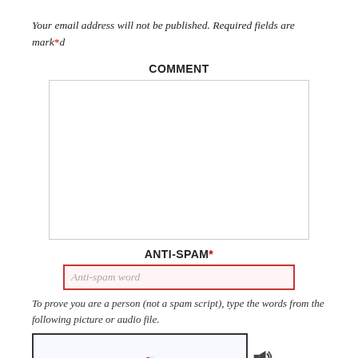Your email address will not be published. Required fields are marked*
COMMENT
[Figure (other): Comment text area input box, empty, with gray border]
ANTI-SPAM*
[Figure (other): Anti-spam word input field with red border and pink background, placeholder text: Anti-spam word]
To prove you are a person (not a spam script), type the words from the following picture or audio file.
[Figure (other): CAPTCHA image showing the text 'zoos hang' in pink/magenta stylized font on a white/light background with faint watermark letters, with audio speaker and refresh icons to the right]
NAME *